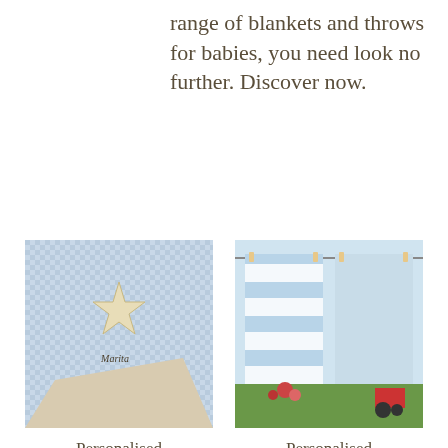range of blankets and throws for babies, you need look no further. Discover now.
[Figure (photo): Personalised baby blanket with blue gingham pattern and embroidered star, with name 'Marita' on it]
Personalised Cuddly Baby Blanket boy
$80.02
[Figure (photo): Personalised knitted tractor baby blanket in blue and white stripes hanging on a clothes line outdoors]
Personalised Knitted Tractor Baby Blanket
$45.00